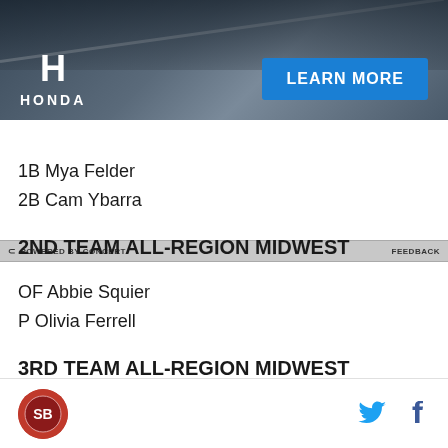[Figure (other): Honda advertisement banner showing a car on a road with Honda logo and LEARN MORE button]
POWERED BY CONCERT   FEEDBACK
1B Mya Felder
2B Cam Ybarra
2ND TEAM ALL-REGION MIDWEST
OF Abbie Squier
P Olivia Ferrell
3RD TEAM ALL-REGION MIDWEST
Site logo, Twitter icon, Facebook icon